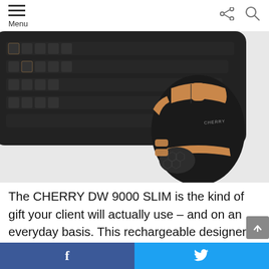Menu
[Figure (photo): Product photo of CHERRY DW 9000 SLIM wireless keyboard and mouse combo. The keyboard is black and visible in the upper-left. The mouse is black with gold/copper accents and a textured grip pattern on the side, with the CHERRY logo visible.]
The CHERRY DW 9000 SLIM is the kind of gift your client will actually use – and on an everyday basis. This rechargeable designer desktop can be easily connected via Bluetooth® or a 2.4 GHz wireless unit, and the keyboard's precise scissor mechanism makes typing a comfortable and pleasing experience. With
f  twitter